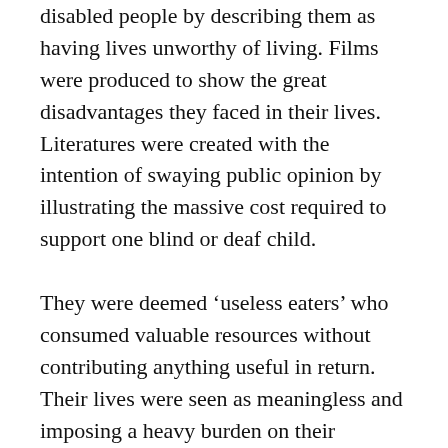disabled people by describing them as having lives unworthy of living. Films were produced to show the great disadvantages they faced in their lives. Literatures were created with the intention of swaying public opinion by illustrating the massive cost required to support one blind or deaf child.
They were deemed ‘useless eaters’ who consumed valuable resources without contributing anything useful in return. Their lives were seen as meaningless and imposing a heavy burden on their families and society. Euthanasia was promoted as the `gentle death’ to end the sufferings.
Killings of disabled children and adults began